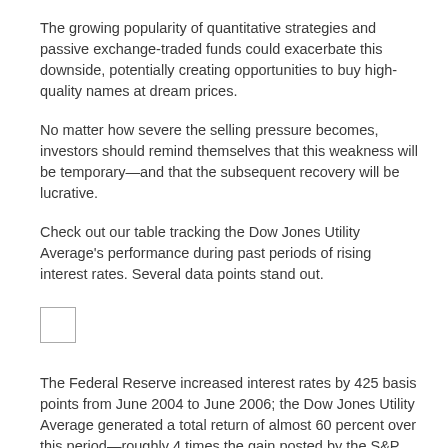The growing popularity of quantitative strategies and passive exchange-traded funds could exacerbate this downside, potentially creating opportunities to buy high-quality names at dream prices.
No matter how severe the selling pressure becomes, investors should remind themselves that this weakness will be temporary—and that the subsequent recovery will be lucrative.
Check out our table tracking the Dow Jones Utility Average's performance during past periods of rising interest rates. Several data points stand out.
[Figure (other): Small empty placeholder box/checkbox element]
The Federal Reserve increased interest rates by 425 basis points from June 2004 to June 2006; the Dow Jones Utility Average generated a total return of almost 60 percent over this period—roughly 4 times the gain posted by the S&P 500. Of course, the magnitude of this outperformance stems in large part from the Dow Jones Utility Average recovering from the crippling 2001-02 bear market.